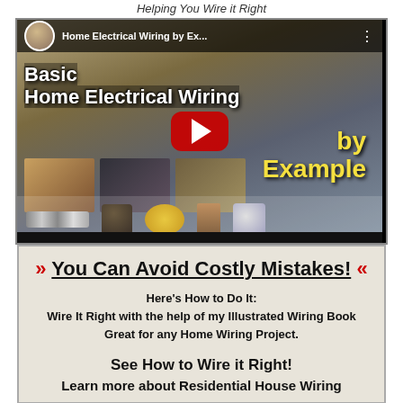Helping You Wire it Right
[Figure (screenshot): YouTube video thumbnail for 'Home Electrical Wiring by Ex...' showing basic home electrical wiring tutorial with play button, electrician, and wiring components.]
» You Can Avoid Costly Mistakes! «
Here's How to Do It:
Wire It Right with the help of my Illustrated Wiring Book
Great for any Home Wiring Project.
See How to Wire it Right!
Learn more about Residential House Wiring